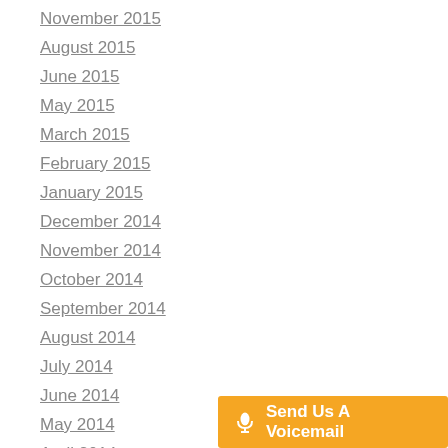November 2015
August 2015
June 2015
May 2015
March 2015
February 2015
January 2015
December 2014
November 2014
October 2014
September 2014
August 2014
July 2014
June 2014
May 2014
April 2014
March 2014
February 2014
December 2013
Send Us A Voicemail